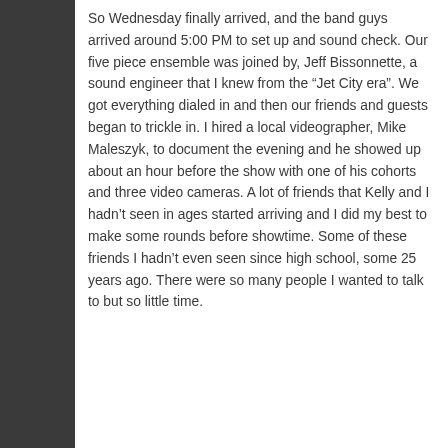So Wednesday finally arrived, and the band guys arrived around 5:00 PM to set up and sound check. Our five piece ensemble was joined by, Jeff Bissonnette, a sound engineer that I knew from the “Jet City era”. We got everything dialed in and then our friends and guests began to trickle in. I hired a local videographer, Mike Maleszyk, to document the evening and he showed up about an hour before the show with one of his cohorts and three video cameras. A lot of friends that Kelly and I hadn’t seen in ages started arriving and I did my best to make some rounds before showtime. Some of these friends I hadn’t even seen since high school, some 25 years ago. There were so many people I wanted to talk to but so little time.
[Figure (photo): Band performing on stage in a dimly lit venue. Multiple musicians visible including guitarists and a drummer. Red backdrop visible with Jagermeister branding. Purple and white stage lights illuminate the performers.]
Eight o'clock came around and it was time to